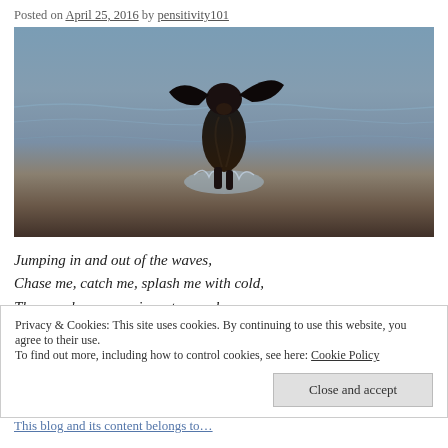Posted on April 25, 2016 by pensitivity101
[Figure (photo): A black spaniel dog jumping through ocean waves at the beach, ears flying outward, water splashing around its legs]
Jumping in and out of the waves,
Chase me, catch me, splash me with cold,
Then wash my paws in water so clear
Privacy & Cookies: This site uses cookies. By continuing to use this website, you agree to their use.
To find out more, including how to control cookies, see here: Cookie Policy
Close and accept